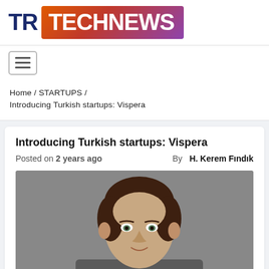TR TECHNEWS
Home / STARTUPS / Introducing Turkish startups: Vispera
Introducing Turkish startups: Vispera
Posted on 2 years ago   By  H. Kerem Fındık
[Figure (photo): Portrait photo of a woman with short dark hair against a grey background]